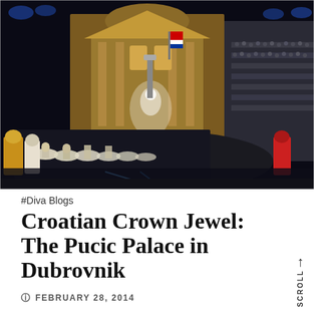[Figure (photo): Night scene of an outdoor performance in Dubrovnik, Croatia. Ballet dancers in white tutus perform in a large illuminated square in front of a baroque church (likely St. Blaise). A large crowd of spectators fills tiered seating on the right. Stage lighting and blue lights illuminate the scene. Croatian flag visible in the background.]
#Diva Blogs
Croatian Crown Jewel: The Pucic Palace in Dubrovnik
FEBRUARY 28, 2014
by Cynthia English Film and music with a slightly different flair~ ready for something new? This year